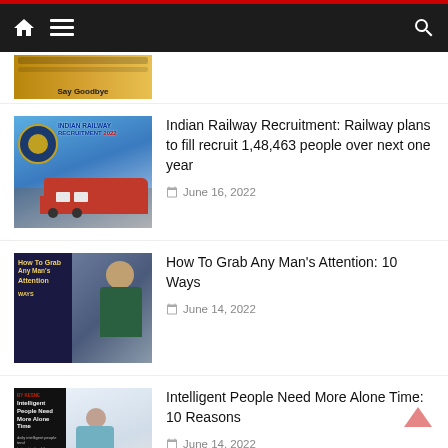Navigation bar with home, menu, and search icons
[Figure (screenshot): Partial article thumbnail with orange/gold background and 'Say Goodbye' text]
[Figure (photo): Indian Railway Recruitment 2022 thumbnail showing a red train and Indian Railway logo badge]
Indian Railway Recruitment: Railway plans to fill recruit 1,48,463 people over next one year
June 16, 2022
[Figure (photo): How To Grab Any Man's Attention thumbnail showing a young woman resting her chin on her hand]
How To Grab Any Man's Attention: 10 Ways
June 14, 2022
[Figure (photo): Intelligent People Need More Alone Time thumbnail with black side panel text and woman meditating with laptop]
Intelligent People Need More Alone Time: 10 Reasons
June 14, 2022